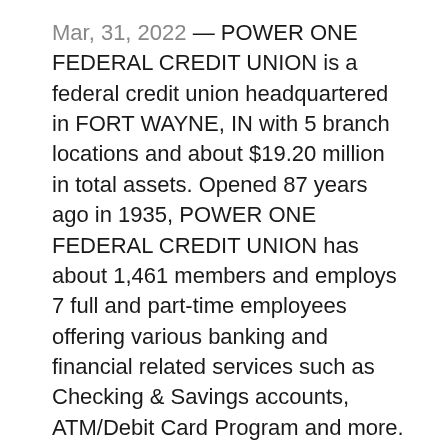Mar, 31, 2022 — POWER ONE FEDERAL CREDIT UNION is a federal credit union headquartered in FORT WAYNE, IN with 5 branch locations and about $19.20 million in total assets. Opened 87 years ago in 1935, POWER ONE FEDERAL CREDIT UNION has about 1,461 members and employs 7 full and part-time employees offering various banking and financial related services such as Checking & Savings accounts, ATM/Debit Card Program and more.